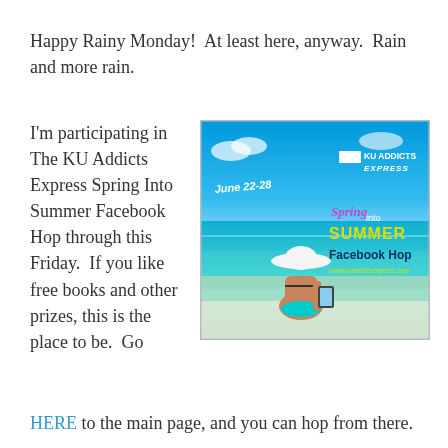Happy Rainy Monday!  At least here, anyway.  Rain and more rain.
I'm participating in The KU Addicts Express Spring Into Summer Facebook Hop through this Friday.  If you like free books and other prizes, this is the place to be.  Go HERE to the main page, and you can hop from there.
[Figure (illustration): Beach scene with a woman in a bikini holding an e-reader, sitting in shallow water. Text overlay reads: June 22-28, KU Addicts Express, Spring into SUMMER Facebook Hop, www.kuaddictsexpress.com]